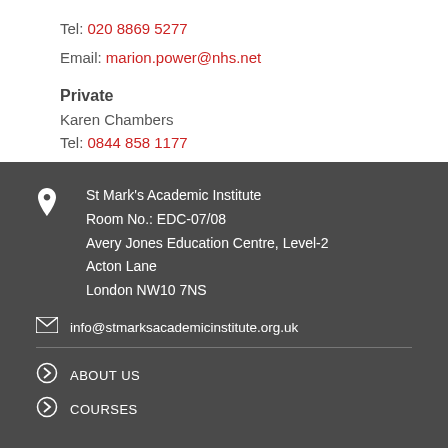Tel: 020 8869 5277
Email: marion.power@nhs.net
Private
Karen Chambers
Tel: 0844 858 1177
Email: humphries@med-services.co.uk
St Mark's Academic Institute
Room No.: EDC-07/08
Avery Jones Education Centre, Level-2
Acton Lane
London NW10 7NS
info@stmarksacademicinstitute.org.uk
ABOUT US
COURSES